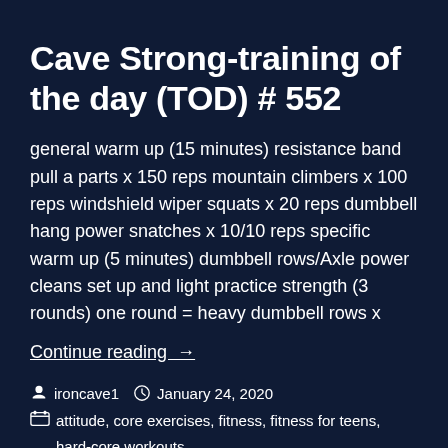Cave Strong-training of the day (TOD) # 552
general warm up (15 minutes) resistance band pull a parts x 150 reps mountain climbers x 100 reps windshield wiper squats x 20 reps dumbbell hang power snatches x 10/10 reps specific warm up (5 minutes) dumbbell rows/Axle power cleans set up and light practice strength (3 rounds) one round = heavy dumbbell rows x
Continue reading  →
ironcave1   January 24, 2020
attitude, core exercises, fitness, fitness for teens, hard-core workouts, How to stay fit, lose weight, mental toughness, motivation, personal trainers near Sarasota, personal training, physical culture,